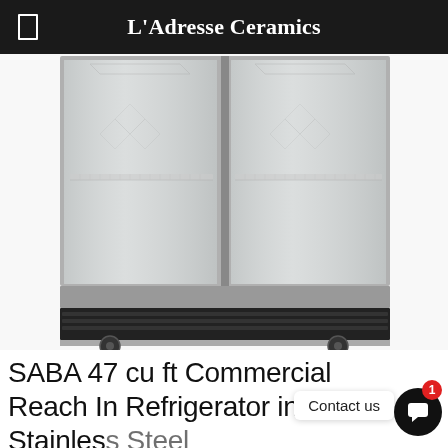L'Adresse Ceramics
[Figure (photo): Commercial two-door glass reach-in refrigerator with stainless steel body, transparent glass doors showing wire shelving inside, black bottom panel with ventilation slats, and caster wheels at the base. Shot from the front on white background.]
SABA 47 cu ft Commercial Reach In Refrigerator in Stainless Steel